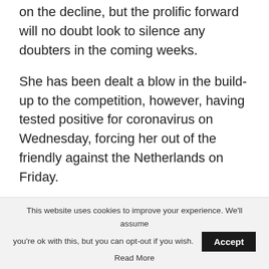on the decline, but the prolific forward will no doubt look to silence any doubters in the coming weeks.
She has been dealt a blow in the build-up to the competition, however, having tested positive for coronavirus on Wednesday, forcing her out of the friendly against the Netherlands on Friday.
This website uses cookies to improve your experience. We'll assume you're ok with this, but you can opt-out if you wish. Accept Read More